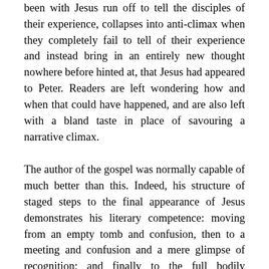been with Jesus run off to tell the disciples of their experience, collapses into anti-climax when they completely fail to tell of their experience and instead bring in an entirely new thought nowhere before hinted at, that Jesus had appeared to Peter. Readers are left wondering how and when that could have happened, and are also left with a bland taste in place of savouring a narrative climax.
The author of the gospel was normally capable of much better than this. Indeed, his structure of staged steps to the final appearance of Jesus demonstrates his literary competence: moving from an empty tomb and confusion, then to a meeting and confusion and a mere glimpse of recognition; and finally to the full bodily appearance before all. If this is how a Jesus really did show himself and if the narrative is read as history instead of narrative drama, it reads as if he is having a joking game of hide and seek